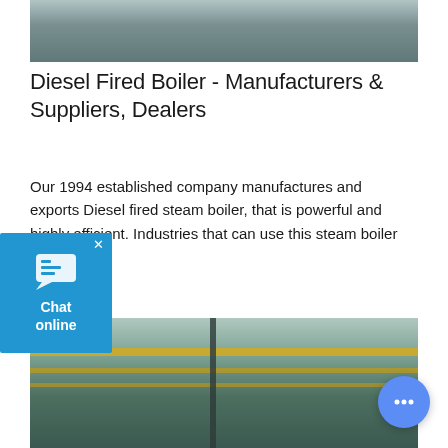[Figure (photo): Partial top view of a diesel fired boiler or industrial equipment in a facility, muted teal/grey tones.]
Diesel Fired Boiler - Manufacturers & Suppliers, Dealers
Our 1994 established company manufactures and exports Diesel fired steam boiler, that is powerful and highly efficient. Industries that can use this steam boiler
[Figure (other): Get a Quote dark button element]
[Figure (photo): Industrial boiler facility interior with yellow pipework and large cylindrical boiler units, viewed from below.]
[Figure (other): Chat online widget overlay with blue background and chat icon.]